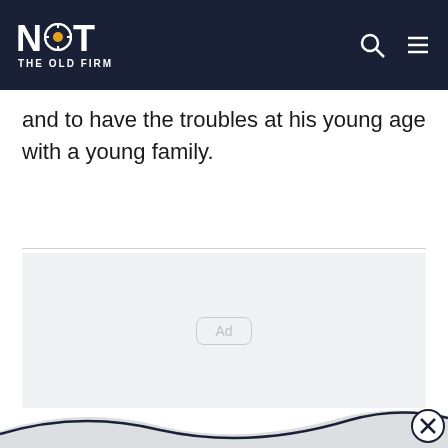NOT THE OLD FIRM
and to have the troubles at his young age with a young family.
[Figure (other): Advertisement placeholder box with 'Ad' label on light grey background]